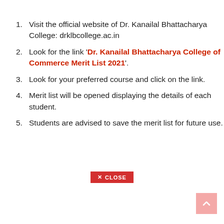1. Visit the official website of Dr. Kanailal Bhattacharya College: drklbcollege.ac.in
2. Look for the link 'Dr. Kanailal Bhattacharya College of Commerce Merit List 2021'.
3. Look for your preferred course and click on the link.
4. Merit list will be opened displaying the details of each student.
5. Students are advised to save the merit list for future use.